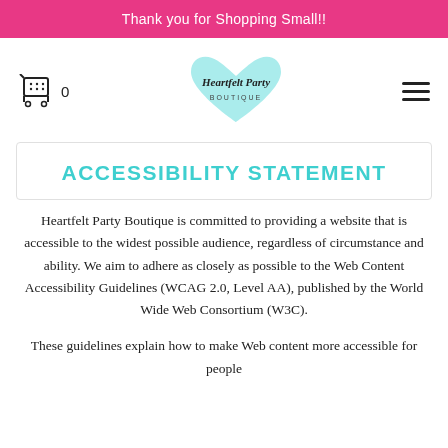Thank you for Shopping Small!!
[Figure (logo): Shopping cart icon with '0' text and Heartfelt Party Boutique logo (teal heart with script text) and hamburger menu icon]
ACCESSIBILITY STATEMENT
Heartfelt Party Boutique is committed to providing a website that is accessible to the widest possible audience, regardless of circumstance and ability. We aim to adhere as closely as possible to the Web Content Accessibility Guidelines (WCAG 2.0, Level AA), published by the World Wide Web Consortium (W3C).
These guidelines explain how to make Web content more accessible for people